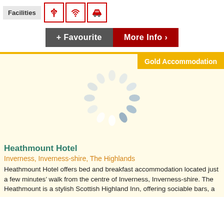Facilities
[Figure (infographic): Three facility icons: plant/flower, wifi, and car, each in a red-bordered square]
+ Favourite  More Info >
[Figure (infographic): Loading spinner (circular dots) on a pale yellow background indicating an image is loading]
Gold Accommodation
Heathmount Hotel
Inverness, Inverness-shire, The Highlands
Heathmount Hotel offers bed and breakfast accommodation located just a few minutes’ walk from the centre of Inverness, Inverness-shire. The Heathmount is a stylish Scottish Highland Inn, offering sociable bars, a